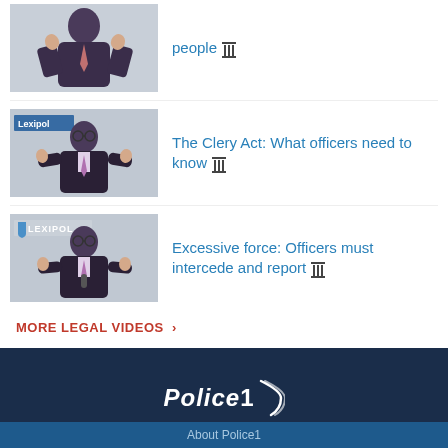[Figure (screenshot): Video thumbnail showing person in dark suit, Lexipol branding]
people 🏛
[Figure (screenshot): Video thumbnail with Lexipol logo, man in suit gesturing]
The Clery Act: What officers need to know 🏛
[Figure (screenshot): Video thumbnail with LEXIPOL logo, man in suit gesturing]
Excessive force: Officers must intercede and report 🏛
MORE LEGAL VIDEOS ›
[Figure (logo): Police1 logo in white on dark navy background]
About Police1